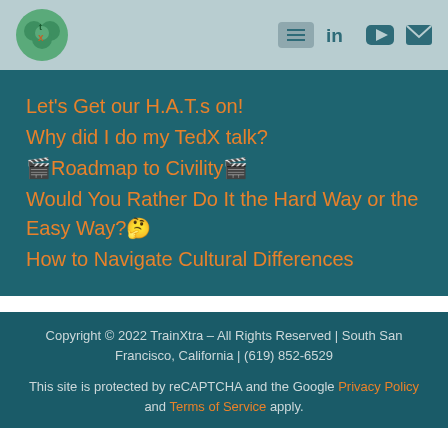TrainXtra logo with navigation icons (hamburger menu, LinkedIn, YouTube, email)
Let's Get our H.A.T.s on!
Why did I do my TedX talk?
🎬Roadmap to Civility🎬
Would You Rather Do It the Hard Way or the Easy Way?🤔
How to Navigate Cultural Differences
Copyright © 2022 TrainXtra – All Rights Reserved | South San Francisco, California | (619) 852-6529

This site is protected by reCAPTCHA and the Google Privacy Policy and Terms of Service apply.